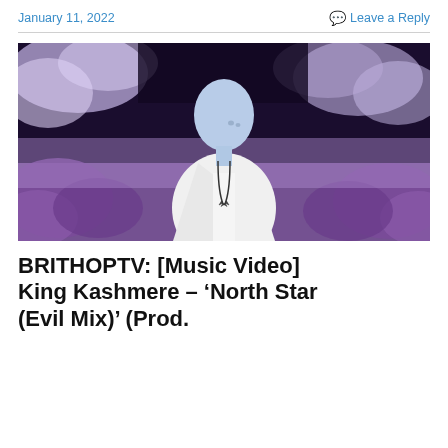January 11, 2022
Leave a Reply
[Figure (photo): A man in a white blazer with a star pendant necklace standing in a surreal purple-tinted field with soft purple foliage in the background. The image has a blue/purple color-inverted or infrared effect giving the scene a dreamlike quality.]
BRITHOPTV: [Music Video] King Kashmere – ‘North Star (Evil Mix)’ (Prod.